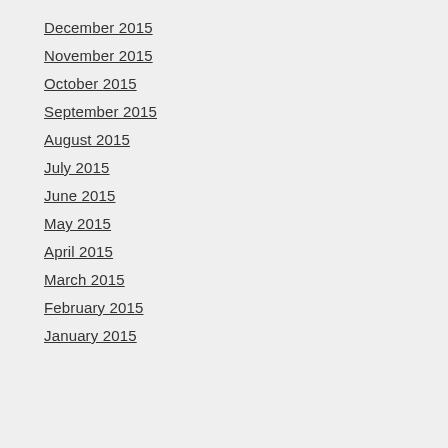December 2015
November 2015
October 2015
September 2015
August 2015
July 2015
June 2015
May 2015
April 2015
March 2015
February 2015
January 2015